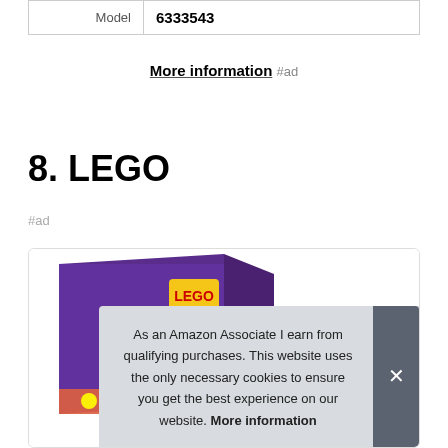| Model | 6333543 |
More information #ad
8. LEGO
#ad
[Figure (photo): LEGO product box image, partially visible, purple colored box]
As an Amazon Associate I earn from qualifying purchases. This website uses the only necessary cookies to ensure you get the best experience on our website. More information